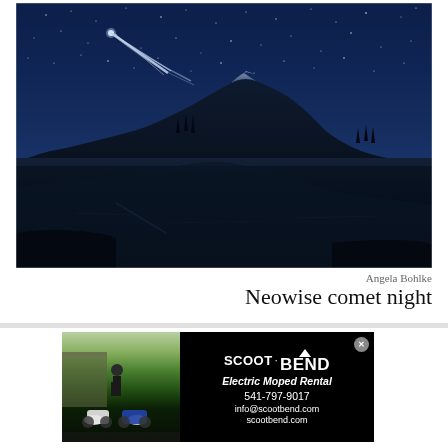[Figure (photo): Night sky photograph showing Neowise comet with a bright tail streaking above a mountain silhouette reflected in a still lake. Taken at Sparks Lake area near Bend, Oregon.]
Angela Bohlke
Neowise comet night
[Figure (photo): Advertisement for Scoot Bend Electric Moped Rental. Left side shows two electric mopeds (white and blue) parked outdoors with a person standing nearby. Right side is a black panel with white text: SCOOT·BEND, Electric Moped Rental, 541-797-9017, info@scootbend.com, scootbend.com]